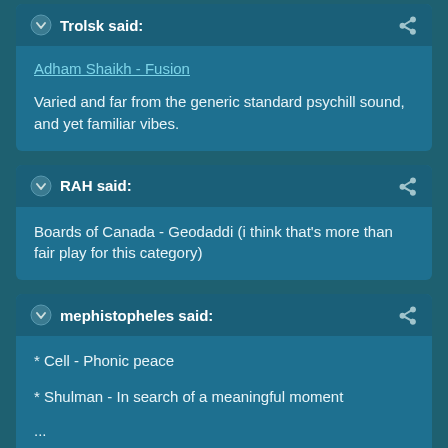Trolsk said:
Adham Shaikh - Fusion

Varied and far from the generic standard psychill sound, and yet familiar vibes.
RAH said:
Boards of Canada - Geodaddi (i think that's more than fair play for this category)
mephistopheles said:
* Cell - Phonic peace
* Shulman - In search of a meaningful moment
...